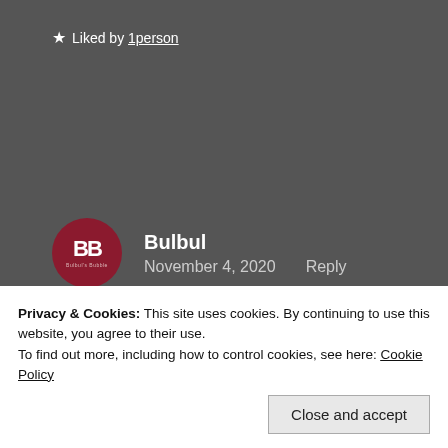★ Liked by 1 person
Bulbul
November 4, 2020    Reply
Thank you, HS, I am delighted to hear this. 🙏 💕
★ Liked by 1 person
Privacy & Cookies: This site uses cookies. By continuing to use this website, you agree to their use.
To find out more, including how to control cookies, see here: Cookie Policy
Close and accept